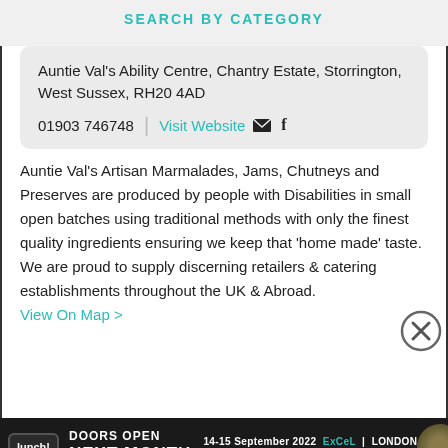SEARCH BY CATEGORY
Auntie Val's Ability Centre, Chantry Estate, Storrington, West Sussex, RH20 4AD
01903 746748 | Visit Website ✉ f
Auntie Val's Artisan Marmalades, Jams, Chutneys and Preserves are produced by people with Disabilities in small open batches using traditional methods with only the finest quality ingredients ensuring we keep that 'home made' taste. We are proud to supply discerning retailers & catering establishments throughout the UK & Abroad.
View On Map >
lunch! DOORS OPEN NEXT MONTH 14-15 September 2022 ExCeL LONDON Book your FREE trade ticket at www.lunchshow.co.uk TRADE ONLY